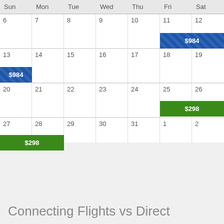| Sun | Mon | Tue | Wed | Thu | Fri | Sat |
| --- | --- | --- | --- | --- | --- | --- |
| 6 | 7 | 8 | 9 | 10 | 11 $984 | 12 |
| 13 $984 | 14 | 15 | 16 | 17 | 18 | 19 |
| 20 | 21 | 22 | 23 | 24 | 25 $298 | 26 |
| 27 $298 | 28 | 29 | 30 | 31 | 1 | 2 |
Connecting Flights vs Direct